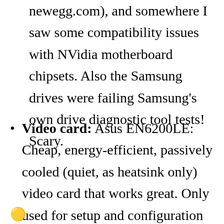newegg.com), and somewhere I saw some compatibility issues with NVidia motherboard chipsets. Also the Samsung drives were failing Samsung's own drive diagnostic tool tests! Scary.
Video card: Asus EN6200LE: Cheap, energy-efficient, passively cooled (quiet, as heatsink only) video card that works great. Only used for setup and configuration so doesn't need to be fast — we're not playing high-speed video games on this machine